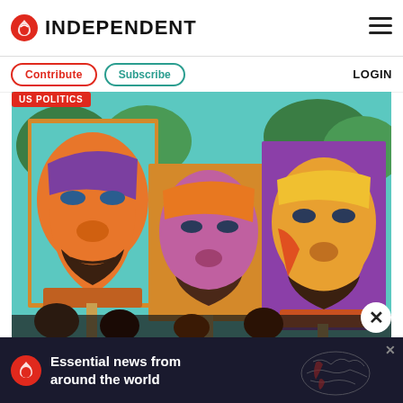INDEPENDENT
Contribute | Subscribe | LOGIN
US POLITICS
[Figure (photo): Three colorful painted protest signs/placards depicting the face of George Floyd held up by demonstrators at an outdoor rally, with trees visible in the background.]
Essential news from around the world